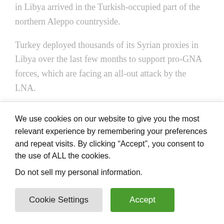in Libya arrived in the Turkish-occupied part of the northern Aleppo countryside.
Turkey deployed thousands of its Syrian proxies in Libya over the last few months to support pro-GNA forces, which are facing an all-out attack by the LNA.
Initially, Syrian militants were promised a monthly salary of up to $2,000. However, they are yet to be paid. According to the SOHR, Ankara is still withholding the salaries of its proxies for unknown reasons. This is leading to serious
We use cookies on our website to give you the most relevant experience by remembering your preferences and repeat visits. By clicking “Accept”, you consent to the use of ALL the cookies.
Do not sell my personal information.